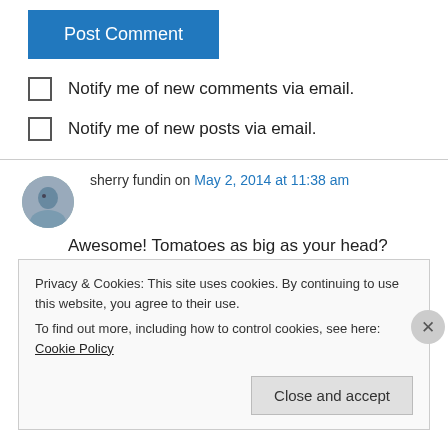Post Comment
Notify me of new comments via email.
Notify me of new posts via email.
sherry fundin on May 2, 2014 at 11:38 am
Awesome! Tomatoes as big as your head? Sounds like a horror story to me. LOL
Privacy & Cookies: This site uses cookies. By continuing to use this website, you agree to their use.
To find out more, including how to control cookies, see here: Cookie Policy